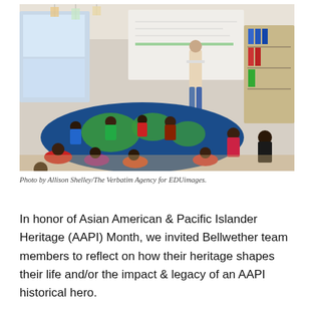[Figure (photo): A classroom scene showing a teacher standing in front of a whiteboard while a large group of young children sit on a round rug depicting a globe/world map in blue and green. The classroom has educational materials on the walls, shelving with binders and supplies in the background, and natural light coming from large windows.]
Photo by Allison Shelley/The Verbatim Agency for EDUimages.
In honor of Asian American & Pacific Islander Heritage (AAPI) Month, we invited Bellwether team members to reflect on how their heritage shapes their life and/or the impact & legacy of an AAPI historical hero.